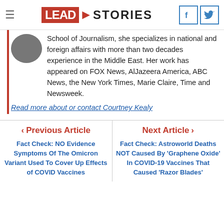Lead Stories
School of Journalism, she specializes in national and foreign affairs with more than two decades experience in the Middle East. Her work has appeared on FOX News, AlJazeera America, ABC News, the New York Times, Marie Claire, Time and Newsweek.
Read more about or contact Courtney Kealy
< Previous Article
Fact Check: NO Evidence Symptoms Of The Omicron Variant Used To Cover Up Effects of COVID Vaccines
Next Article >
Fact Check: Astroworld Deaths NOT Caused By 'Graphene Oxide' In COVID-19 Vaccines That Caused 'Razor Blades'